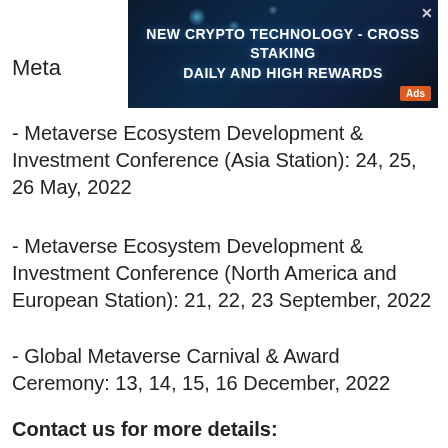[Figure (other): Advertisement banner for crypto technology - Cross Staking with text 'NEW CRYPTO TECHNOLOGY - CROSS STAKING DAILY AND HIGH REWARDS' with Ads badge]
Meta
- Metaverse Ecosystem Development & Investment Conference (Asia Station): 24, 25, 26 May, 2022
- Metaverse Ecosystem Development & Investment Conference (North America and European Station): 21, 22, 23 September, 2022
- Global Metaverse Carnival & Award Ceremony: 13, 14, 15, 16 December, 2022
Contact us for more details:
Email: contact@metaverse-neworld.club